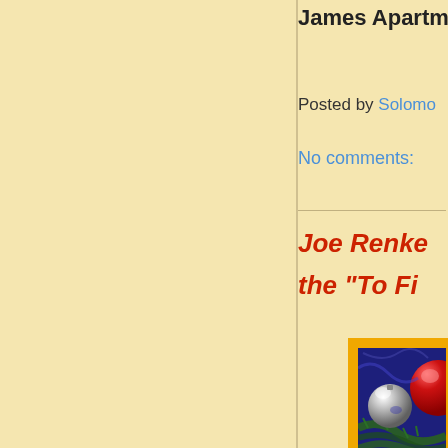James Apartments
Posted by Solomon
No comments:
Joe Renke the "To Fi..."
[Figure (photo): Christmas ornament photo showing silver and red ornament balls on pine branches against a blue background, framed with orange/yellow border]